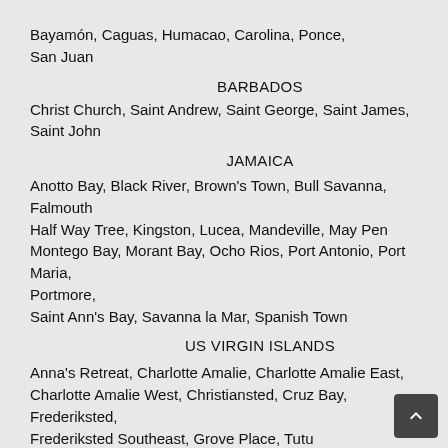Bayamón, Caguas, Humacao, Carolina, Ponce, San Juan
BARBADOS
Christ Church, Saint Andrew, Saint George, Saint James, Saint John
JAMAICA
Anotto Bay, Black River, Brown's Town, Bull Savanna, Falmouth Half Way Tree, Kingston, Lucea, Mandeville, May Pen Montego Bay, Morant Bay, Ocho Rios, Port Antonio, Port Maria, Portmore, Saint Ann's Bay, Savanna la Mar, Spanish Town
US VIRGIN ISLANDS
Anna's Retreat, Charlotte Amalie, Charlotte Amalie East, Charlotte Amalie West, Christiansted, Cruz Bay, Frederiksted, Frederiksted Southeast, Grove Place, Tutu
BRITISH VIRGIN ISLANDS
Anderson, Belle Vue, Cane Garden Bay, Creek Village, Freshwater Pond, Great Carrot Bay, Great Mountain, Hannah, Kingstown, Leonards,